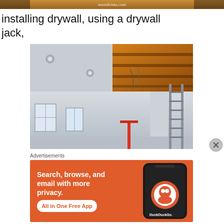[Figure (photo): Partial top strip of a construction/home improvement photo showing wooden ceiling beams with text watermark 'noordvista.com']
installing drywall, using a drywall jack,
[Figure (photo): Indoor construction photo showing a room with partially installed drywall on ceiling, exposed wooden joists/beams visible at top right, recessed lighting holes, windows, and a ladder leaning against the wall.]
Advertisements
[Figure (screenshot): Advertisement for DuckDuckGo app: orange background with phone showing DuckDuckGo logo. Text reads 'Search, browse, and email with more privacy. All in One Free App. DuckDuckGo.']